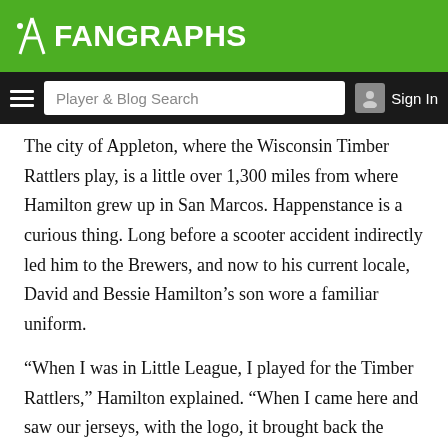FANGRAPHS
Player & Blog Search  Sign In
The city of Appleton, where the Wisconsin Timber Rattlers play, is a little over 1,300 miles from where Hamilton grew up in San Marcos. Happenstance is a curious thing. Long before a scooter accident indirectly led him to the Brewers, and now to his current locale, David and Bessie Hamilton’s son wore a familiar uniform.
“When I was in Little League, I played for the Timber Rattlers,” Hamilton explained. “When I came here and saw our jerseys, with the logo, it brought back the memories. I had a baseball card with me playing [in Little League], so I had my mom send